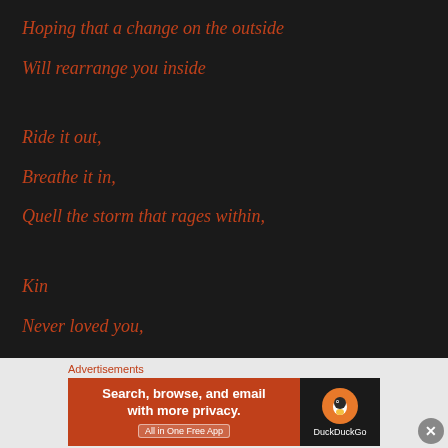Hoping that a change on the outside
Will rearrange you inside
Ride it out,
Breathe it in,
Quell the storm that rages within,
Kin
Never loved you,
[Figure (other): DuckDuckGo advertisement banner with text: Search, browse, and email with more privacy. All in One Free App]